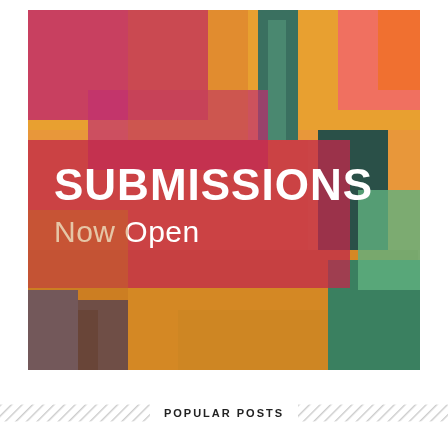[Figure (illustration): Abstract colorful painting with broad brushstrokes in orange, red, magenta, yellow, green, blue, and teal. A semi-transparent dark red/crimson rectangle overlays the center-left of the image containing the text 'SUBMISSIONS Now Open' in white.]
POPULAR POSTS